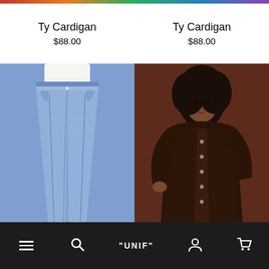Ty Cardigan
$88.00
Ty Cardigan
$88.00
[Figure (photo): Photo of wide-leg blue jeans on a model with white crop top against a blue background]
[Figure (photo): Photo of a model wearing a dark brown cardigan against a brown background]
Like Flash Sales + Early Access to the Latest Drops?
→ Download our app now!
"UNIF" — mobile app navigation bar with hamburger menu, search, logo, account, and cart icons